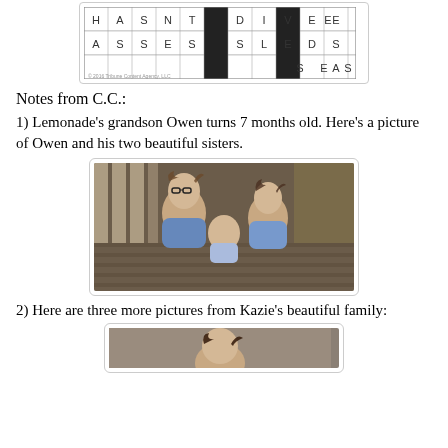[Figure (other): Crossword puzzle grid showing words HASNT, DIVE, EDGE, ASSESS, SLED, SEAS]
Notes from C.C.:
1) Lemonade's grandson Owen turns 7 months old. Here's a picture of Owen and his two beautiful sisters.
[Figure (photo): Photo of three children — an older girl with glasses and curly hair, a baby boy, and a younger girl with curly hair, sitting on a wooden deck]
2) Here are three more pictures from Kazie's beautiful family:
[Figure (photo): Partially visible photo at bottom of page, appears to show a child or person]